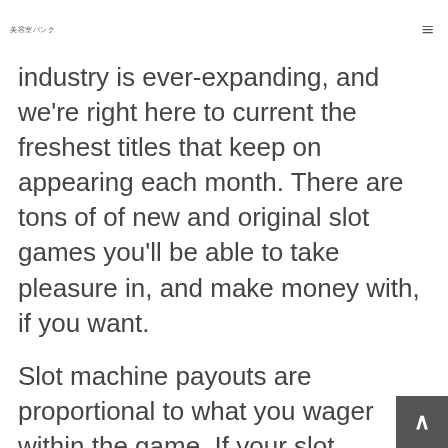美容室バンク
industry is ever-expanding, and we're right here to current the freshest titles that keep on appearing each month. There are tons of of new and original slot games you'll be able to take pleasure in, and make money with, if you want.
Slot machine payouts are proportional to what you wager within the game. If your slot machine technique is to play small bets, don't change it. I scrolled all the method down to the bottom of the slots page at certainly one of my favorite onl